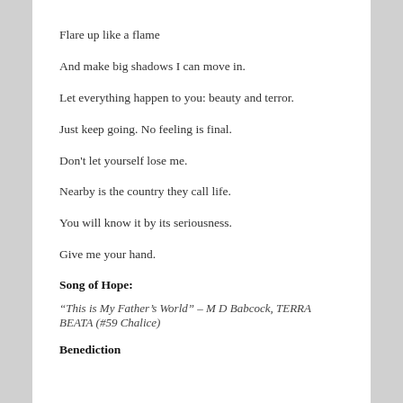Flare up like a flame
And make big shadows I can move in.
Let everything happen to you: beauty and terror.
Just keep going. No feeling is final.
Don't let yourself lose me.
Nearby is the country they call life.
You will know it by its seriousness.
Give me your hand.
Song of Hope:
“This is My Father’s World” – M D Babcock, TERRA BEATA (#59 Chalice)
Benediction